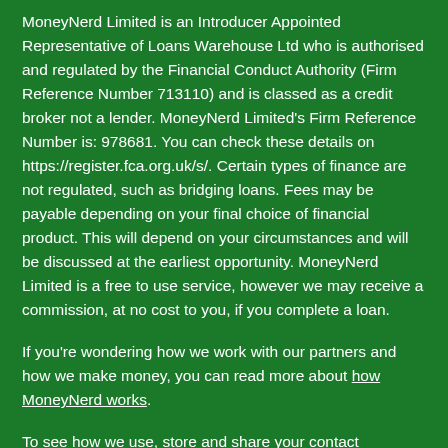MoneyNerd Limited is an Introducer Appointed Representative of Loans Warehouse Ltd who is authorised and regulated by the Financial Conduct Authority (Firm Reference Number 713110) and is classed as a credit broker not a lender. MoneyNerd Limited's Firm Reference Number is: 978681. You can check these details on https://register.fca.org.uk/s/. Certain types of finance are not regulated, such as bridging loans. Fees may be payable depending on your final choice of financial product. This will depend on your circumstances and will be discussed at the earliest opportunity. MoneyNerd Limited is a free to use service, however we may receive a commission, at no cost to you, if you complete a loan.
If you're wondering how we work with our partners and how we make money, you can read more about how MoneyNerd works.
To see how we use, store and share your contact